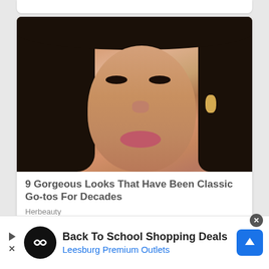[Figure (photo): Close-up photo of a young Asian woman with long straight black hair, dramatic cat-eye makeup, rosy cheeks, pink lips, and gold earrings]
9 Gorgeous Looks That Have Been Classic Go-tos For Decades
Herbeauty
[Figure (screenshot): Partial view of another article card below, showing top of image]
[Figure (other): Advertisement banner: Back To School Shopping Deals - Leesburg Premium Outlets, with logo and navigation icon]